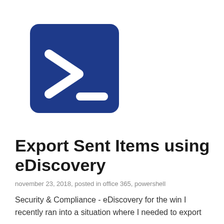[Figure (logo): Windows PowerShell logo: dark blue rounded square with white > and underscore symbols]
Export Sent Items using eDiscovery
november 23, 2018, posted in office 365, powershell
Security & Compliance - eDiscovery for the win I recently ran into a situation where I needed to export